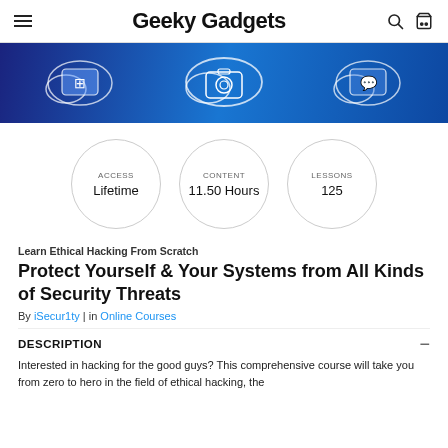Geeky Gadgets
[Figure (photo): Blue technology background with cloud and social media icons]
ACCESS Lifetime | CONTENT 11.50 Hours | LESSONS 125
Learn Ethical Hacking From Scratch
Protect Yourself & Your Systems from All Kinds of Security Threats
By iSecur1ty | in Online Courses
DESCRIPTION
Interested in hacking for the good guys? This comprehensive course will take you from zero to hero in the field of ethical hacking, the